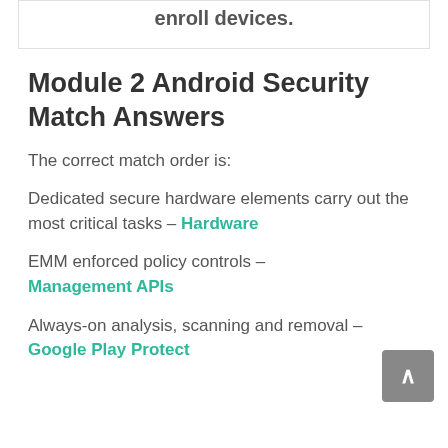enroll devices.
Module 2 Android Security Match Answers
The correct match order is:
Dedicated secure hardware elements carry out the most critical tasks – Hardware
EMM enforced policy controls – Management APIs
Always-on analysis, scanning and removal – Google Play Protect